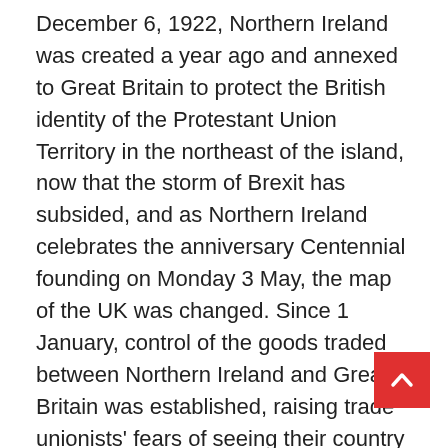December 6, 1922, Northern Ireland was created a year ago and annexed to Great Britain to protect the British identity of the Protestant Union Territory in the northeast of the island, now that the storm of Brexit has subsided, and as Northern Ireland celebrates the anniversary Centennial founding on Monday 3 May, the map of the UK was changed. Since 1 January, control of the goods traded between Northern Ireland and Great Britain was established, raising trade unionists' fears of seeing their country abandoned by the British Crown. >> Read: Under tension after Brexit, Northern Ireland is celebrating its centenary in fact, the Northern Ireland Protocol in the Brexit agreement replaced the possibility of a problem the border between the United Kingdom and the Republic of Ireland with a sea border at the